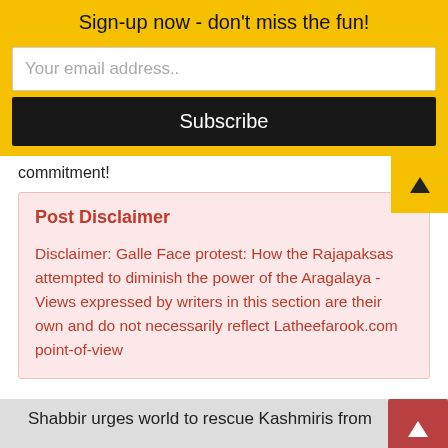Sign-up now - don't miss the fun!
Your email address..
Subscribe
commitment!
Post Disclaimer
Disclaimer: Galle Face protest: How the Rajapaksas attempted to diminish the power of the Aragalaya - Views expressed by writers in this section are their own and do not necessarily reflect Latheefarook.com point-of-view
Shabbir urges world to rescue Kashmiris from